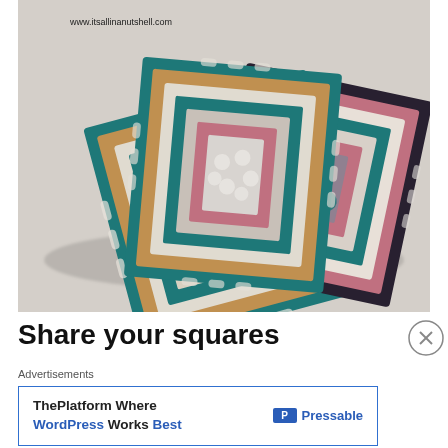[Figure (photo): Three decorative crochet granny squares overlapping each other on a light gray background. The squares feature patterns in teal/dark green borders, with beige/tan, gray, pink, and dark purple colors. A watermark URL 'www.itsallinanutshell.com' is visible in the top-left corner of the photo.]
Share your squares
Advertisements
ThePlatform Where WordPress Works Best  P Pressable